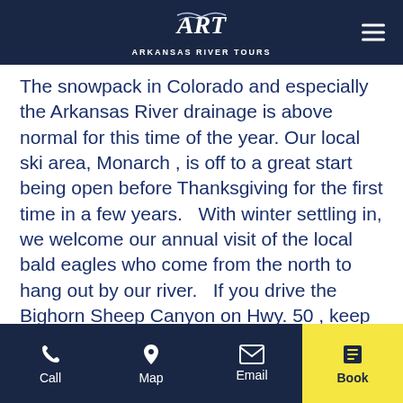ARKANSAS RIVER TOURS
The snowpack in Colorado and especially the Arkansas River drainage is above normal for this time of the year. Our local ski area, Monarch , is off to a great start being open before Thanksgiving for the first time in a few years.   With winter settling in, we welcome our annual visit of the local bald eagles who come from the north to hang out by our river.   If you drive the Bighorn Sheep Canyon on Hwy. 50 , keep your eye out for one scanning the river in anticipation of a meal.
December, 2013
Call | Map | Email | Book